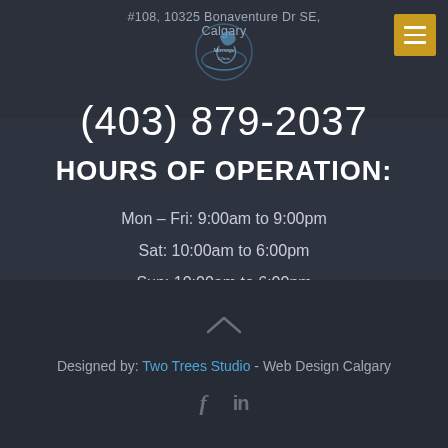#108, 10325 Bonaventure Dr SE, Calgary
(403) 879-2037
HOURS OF OPERATION:
Mon – Fri: 9:00am to 9:00pm
Sat: 10:00am to 6:00pm
Sun: 10:00am to 6:00pm
Designed by: Two Trees Studio - Web Design Calgary